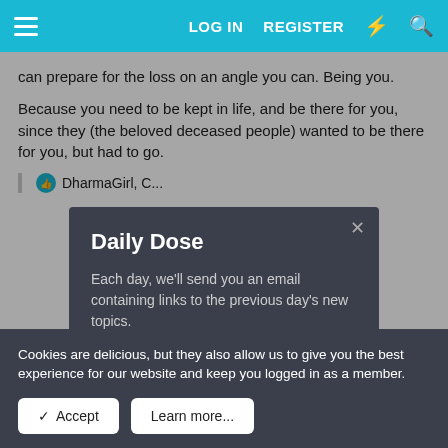LOG IN  REGISTER
can prepare for the loss on an angle you can. Being you.
Because you need to be kept in life, and be there for you, since they (the beloved deceased people) wanted to be there for you, but had to go.
DharmaGirl, C...
Feb 2, 2020
SweetP... Confident
[Figure (screenshot): Daily Dose modal popup with email subscription offer and CLICK TO SUBSCRIBE button]
Cookies are delicious, but they also allow us to give you the best experience for our website and keep you logged in as a member.
✓ Accept    Learn more...